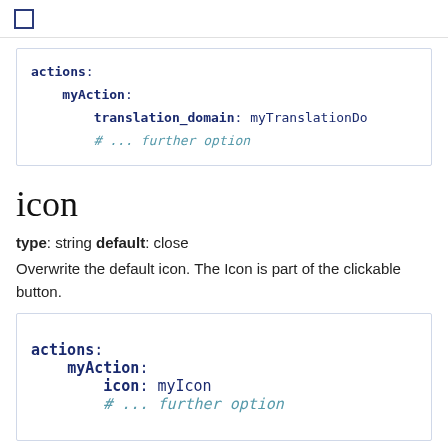□
[Figure (screenshot): Code block showing YAML configuration: actions: myAction: translation_domain: myTranslationDo  # ... further option]
icon
type: string default: close
Overwrite the default icon. The Icon is part of the clickable button.
[Figure (screenshot): Code block showing YAML configuration: actions: myAction: icon: myIcon  # ... further option]